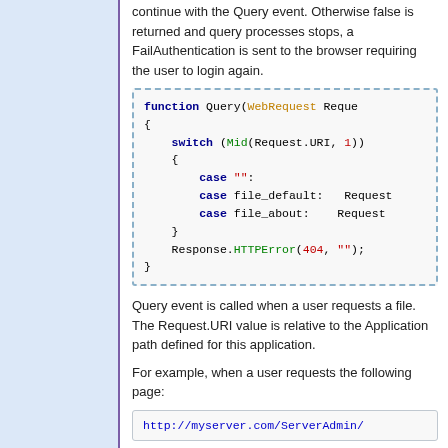continue with the Query event. Otherwise false is returned and query processes stops, a FailAuthentication is sent to the browser requiring the user to login again.
[Figure (screenshot): Code block with syntax highlighting showing a Query function with switch statement using Mid(Request.URI,1), cases for empty string, file_default, file_about, and Response.HTTPError(404, '');]
Query event is called when a user requests a file. The Request.URI value is relative to the Application path defined for this application.
For example, when a user requests the following page:
[Figure (screenshot): URL code box showing: http://myserver.com/ServerAdmin/]
Request.URI will contain the following value: